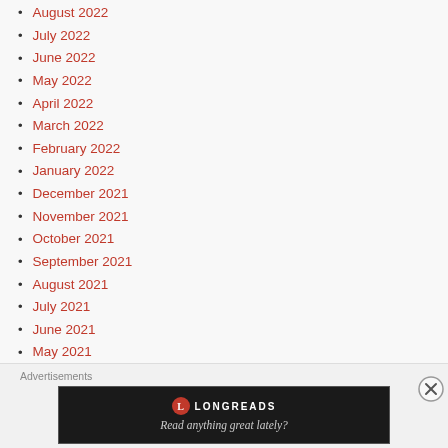August 2022
July 2022
June 2022
May 2022
April 2022
March 2022
February 2022
January 2022
December 2021
November 2021
October 2021
September 2021
August 2021
July 2021
June 2021
May 2021
April 2021
March 2021
Advertisements
[Figure (screenshot): Longreads advertisement banner with logo and tagline 'Read anything great lately?']